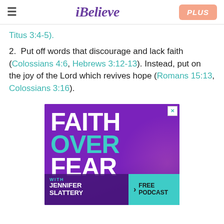≡  iBelieve  PLUS
Titus 3:4-5).
2. Put off words that discourage and lack faith (Colossians 4:6, Hebrews 3:12-13). Instead, put on the joy of the Lord which revives hope (Romans 15:13, Colossians 3:16).
[Figure (illustration): Advertisement banner for 'Faith Over Fear with Jennifer Slattery' podcast. Purple background with large bold white and teal text reading FAITH OVER FEAR. Bottom section shows 'WITH JENNIFER SLATTERY' and a teal button with 'FREE PODCAST'. Close X button in top right corner.]